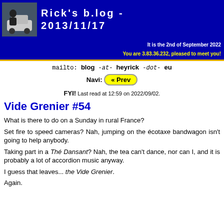Rick's b.log - 2013/11/17
It is the 2nd of September 2022
You are 3.83.36.232, pleased to meet you!
mailto: blog -at- heyrick -dot- eu
Navi: « Prev
FYI! Last read at 12:59 on 2022/09/02.
Vide Grenier #54
What is there to do on a Sunday in rural France?
Set fire to speed cameras? Nah, jumping on the écotaxe bandwagon isn't going to help anybody.
Taking part in a Thé Dansant? Nah, the tea can't dance, nor can I, and it is probably a lot of accordion music anyway.
I guess that leaves... the Vide Grenier.
Again.